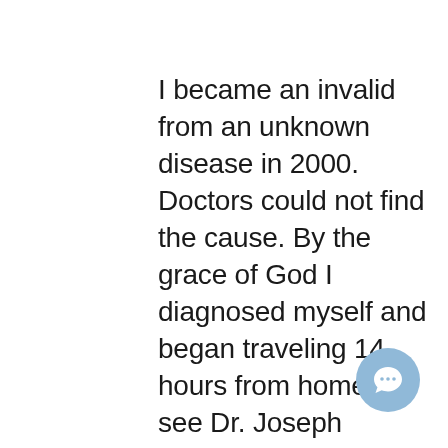I became an invalid from an unknown disease in 2000. Doctors could not find the cause. By the grace of God I diagnosed myself and began traveling 14 hours from home to see Dr. Joseph Burrascano, widely recognized as the world's foremost Lyme specialist. He confirmed that I had Lyme, though I did not test positive until 18 months of treatment. Over the many years I saw him I gradually improved, but had reached a plateau and was still in great pain. When he closed his practice I was